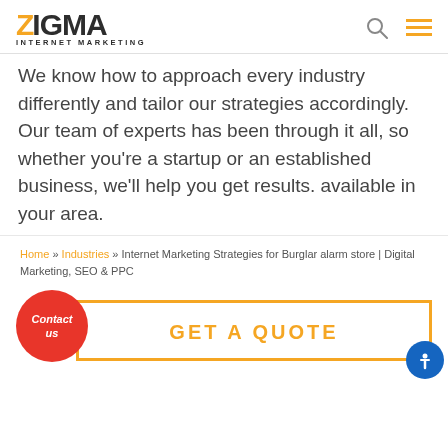ZIGMA INTERNET MARKETING
We know how to approach every industry differently and tailor our strategies accordingly. Our team of experts has been through it all, so whether you're a startup or an established business, we'll help you get results. available in your area.
Home » Industries » Internet Marketing Strategies for Burglar alarm store | Digital Marketing, SEO & PPC
Contact us
GET A QUOTE